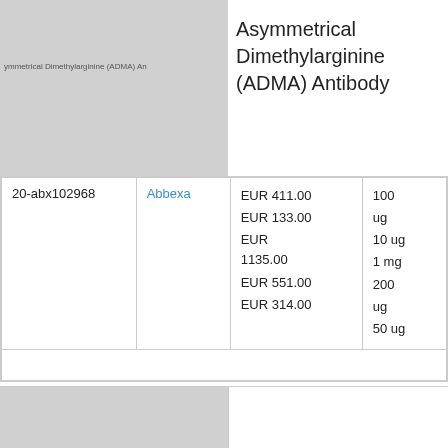[Figure (photo): Product image placeholder for Asymmetrical Dimethylarginine (ADMA) Antibody with overlaid text]
Asymmetrical Dimethylarginine (ADMA) Antibody
| 20-abx102968 | Abbexa | EUR 411.00
EUR 133.00
EUR 1135.00
EUR 551.00
EUR 314.00 | 100 ug
10 ug
1 mg
200 ug
50 ug |
[Figure (photo): Partial product image placeholder at bottom of page]